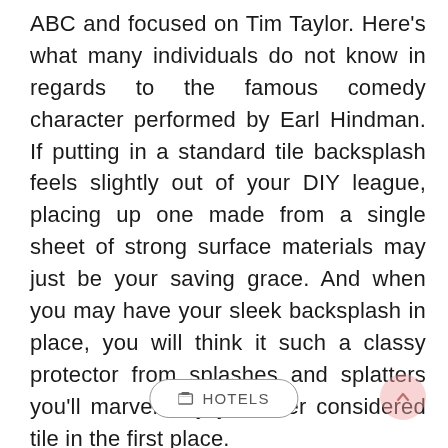ABC and focused on Tim Taylor. Here's what many individuals do not know in regards to the famous comedy character performed by Earl Hindman. If putting in a standard tile backsplash feels slightly out of your DIY league, placing up one made from a single sheet of strong surface materials may just be your saving grace. And when you may have your sleek backsplash in place, you will think it such a classy protector from splashes and splatters you'll marvel why you ever considered tile in the first place.
HOTELS